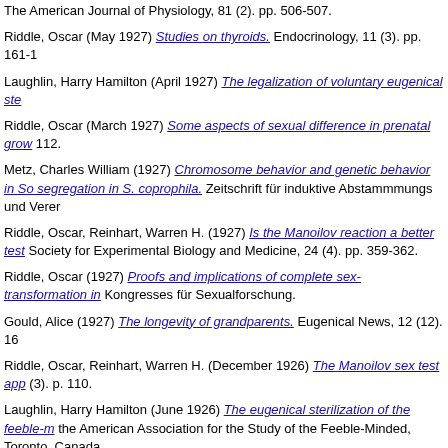The American Journal of Physiology, 81 (2). pp. 506-507.
Riddle, Oscar (May 1927) Studies on thyroids. Endocrinology, 11 (3). pp. 161-1
Laughlin, Harry Hamilton (April 1927) The legalization of voluntary eugenical ste
Riddle, Oscar (March 1927) Some aspects of sexual difference in prenatal grow 112.
Metz, Charles William (1927) Chromosome behavior and genetic behavior in So segregation in S. coprophila. Zeitschrift für induktive Abstammmungs und Verer
Riddle, Oscar, Reinhart, Warren H. (1927) Is the Manoilov reaction a better test Society for Experimental Biology and Medicine, 24 (4). pp. 359-362.
Riddle, Oscar (1927) Proofs and implications of complete sex-transformation in Kongresses für Sexualforschung.
Gould, Alice (1927) The longevity of grandparents. Eugenical News, 12 (12). 16
Riddle, Oscar, Reinhart, Warren H. (December 1926) The Manoilov sex test app (3). p. 110.
Laughlin, Harry Hamilton (June 1926) The eugenical sterilization of the feeble-m the American Association for the Study of the Feeble-Minded, Toronto, Canada.
Riddle, Oscar, Reinhart, Warren H. (May 1926) Studies on the physiology of rep reproductive cycle. The American Journal of Physiology, 76 (3). pp. 660-676.
Brink, Royal Alexander, MacGillivray, J. H., Demerec, Milislav (January 1926) E criticisms. Genetics, 11 (1). pp. 38-40.